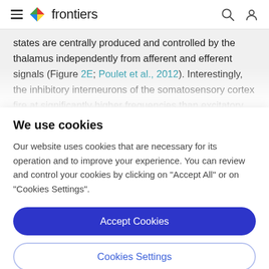frontiers
states are centrally produced and controlled by the thalamus independently from afferent and efferent signals (Figure 2E; Poulet et al., 2012). Interestingly, the inhibitory interneurons of the somatosensory cortex fire at significantly higher frequencies than excitatory neurons
We use cookies
Our website uses cookies that are necessary for its operation and to improve your experience. You can review and control your cookies by clicking on "Accept All" or on "Cookies Settings".
Accept Cookies
Cookies Settings